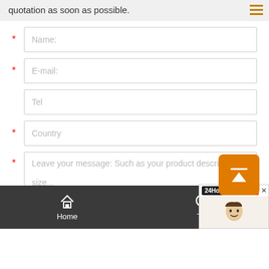quotation as soon as possible.
[Figure (screenshot): Web contact form with fields for Name, E-mail, Tel, Country, and message textarea. Orange hamburger menu icon top right. Orange scroll-to-top button partially overlapping the textarea. Footer navigation with Home and Tel icons on dark background. 24Hours Online chat widget in bottom right.]